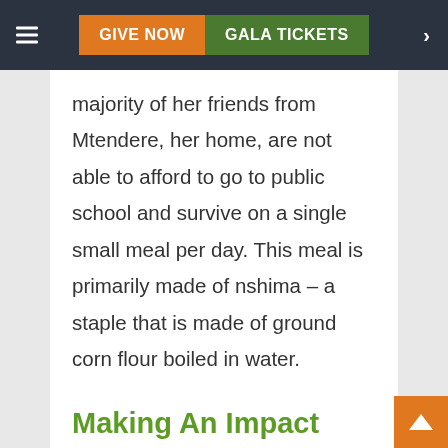GIVE NOW | GALA TICKETS
majority of her friends from Mtendere, her home, are not able to afford to go to public school and survive on a single small meal per day. This meal is primarily made of nshima – a staple that is made of ground corn flour boiled in water.
Making An Impact